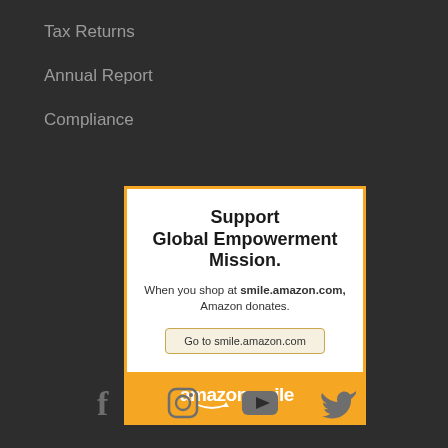Tax Returns
Annual Report
Compliance
[Figure (infographic): Amazon Smile donation widget with orange border. White content area with bold title 'Support Global Empowerment Mission.' followed by text 'When you shop at smile.amazon.com, Amazon donates.' and a button 'Go to smile.amazon.com'. Orange footer bar with 'amazonsmile' logo in white.]
[Figure (infographic): Social media icons row: Facebook, Instagram, YouTube, Twitter — all in dark gray on dark background]